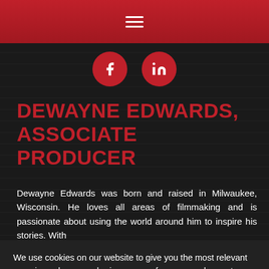Navigation menu (hamburger icon)
[Figure (illustration): Two circular red social media icons: Facebook (f) and LinkedIn (in)]
DEWAYNE EDWARDS, ASSOCIATE PRODUCER
Dewayne Edwards was born and raised in Milwaukee, Wisconsin. He loves all areas of filmmaking and is passionate about using the world around him to inspire his stories. With
We use cookies on our website to give you the most relevant experience by remembering your preferences and repeat visits. By clicking "Accept", you consent to the use of ALL the cookies.
Do not sell my personal information.
Read More   Accept   Reject